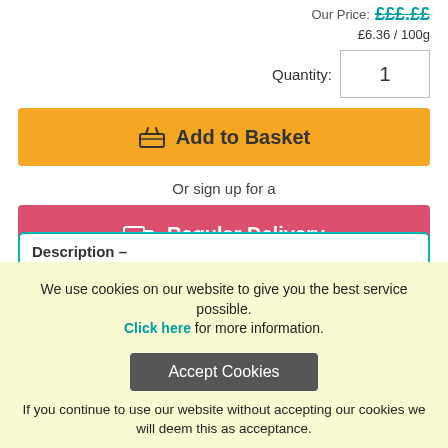Our Price: £££.££
£6.36 / 100g
Quantity: 1
Add to Basket
Or sign up for a
Regular Delivery
Never forget to order!
Description –
We use cookies on our website to give you the best service possible. Click here for more information.
Accept Cookies
If you continue to use our website without accepting our cookies we will deem this as acceptance.